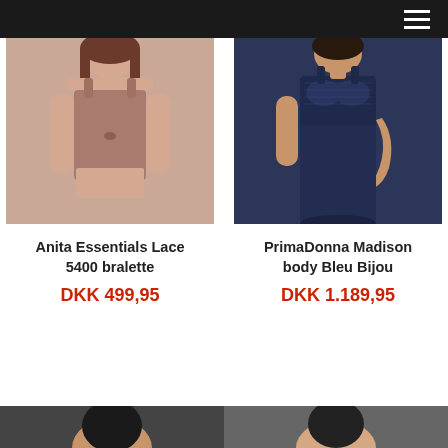[Figure (photo): Woman wearing a mauve/taupe Anita Essentials Lace bralette, upper body shot]
Anita Essentials Lace 5400 bralette
DKK 499,95
[Figure (photo): Woman wearing a navy blue PrimaDonna Madison body with lace detail, full body shot]
PrimaDonna Madison body Bleu Bijou
DKK 1.189,95
[Figure (photo): Partial view of a model at the bottom of the page, left product]
[Figure (photo): Partial view of a model at the bottom of the page, right product]